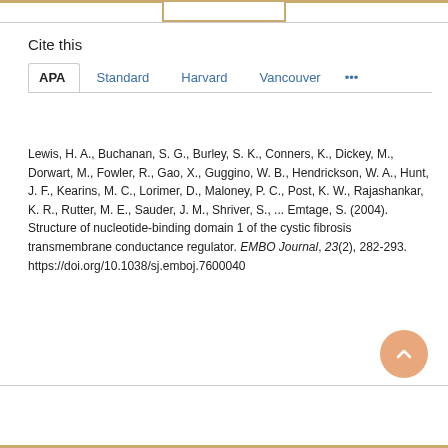Cite this
APA   Standard   Harvard   Vancouver   ...
Lewis, H. A., Buchanan, S. G., Burley, S. K., Conners, K., Dickey, M., Dorwart, M., Fowler, R., Gao, X., Guggino, W. B., Hendrickson, W. A., Hunt, J. F., Kearins, M. C., Lorimer, D., Maloney, P. C., Post, K. W., Rajashankar, K. R., Rutter, M. E., Sauder, J. M., Shriver, S., ... Emtage, S. (2004). Structure of nucleotide-binding domain 1 of the cystic fibrosis transmembrane conductance regulator. EMBO Journal, 23(2), 282-293. https://doi.org/10.1038/sj.emboj.7600040